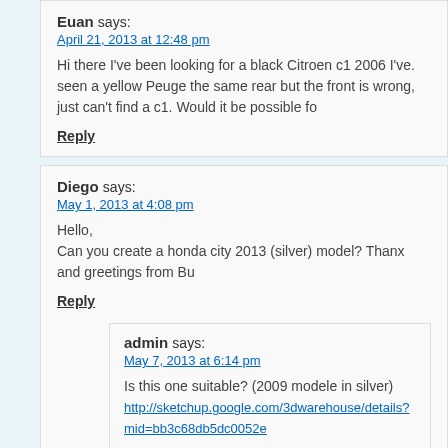Euan says:
April 21, 2013 at 12:48 pm
Hi there I've been looking for a black Citroen c1 2006 I've. seen a yellow Peuge the same rear but the front is wrong, just can't find a c1. Would it be possible fo
Reply
Diego says:
May 1, 2013 at 4:08 pm
Hello,
Can you create a honda city 2013 (silver) model? Thanx and greetings from Bu
Reply
admin says:
May 7, 2013 at 6:14 pm
Is this one suitable? (2009 modele in silver)
http://sketchup.google.com/3dwarehouse/details?mid=bb3c68db5dc0052e
Reply
admin says:
May 18, 2013 at 5:39 pm
no answer -> done 🙂 bye
Reply